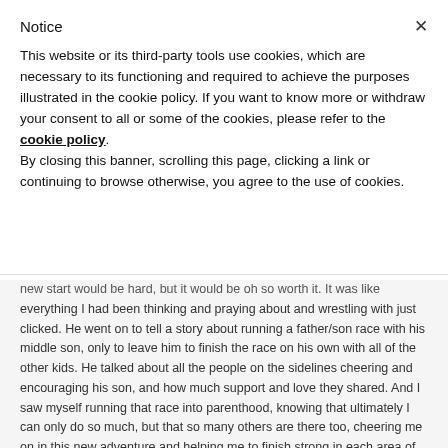Notice
This website or its third-party tools use cookies, which are necessary to its functioning and required to achieve the purposes illustrated in the cookie policy. If you want to know more or withdraw your consent to all or some of the cookies, please refer to the cookie policy. By closing this banner, scrolling this page, clicking a link or continuing to browse otherwise, you agree to the use of cookies.
new start would be hard, but it would be oh so worth it. It was like everything I had been thinking and praying about and wrestling with just clicked. He went on to tell a story about running a father/son race with his middle son, only to leave him to finish the race on his own with all of the other kids. He talked about all the people on the sidelines cheering and encouraging his son, and how much support and love they shared. And I saw myself running that race into parenthood, knowing that ultimately I can only do so much, but that so many others are there too, cheering me on in this new adventure and helping me to finish strong in each area of my life. And then, of course, we got home and saw a commercial during lunch that said, "Parenting: Pass It On" Show Outdoor till He. Finally, here I located...